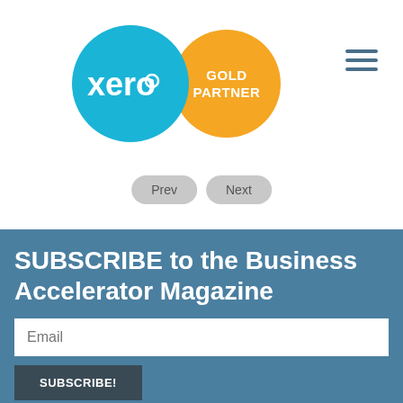[Figure (logo): Xero blue circle logo with 'xero' text and a target icon, alongside a gold circle with 'GOLD PARTNER' text]
[Figure (other): Hamburger menu icon (three horizontal lines) in teal/dark blue]
Prev
Next
SUBSCRIBE to the Business Accelerator Magazine
Email
SUBSCRIBE!